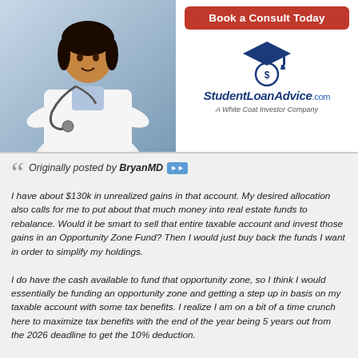[Figure (photo): Photo of a Black female doctor/medical professional wearing a white coat and stethoscope, arms crossed, smiling]
[Figure (infographic): Advertisement panel: 'Book a Consult Today' red button and StudentLoanAdvice.com logo with graduation cap icon, 'A White Coat Investor Company' tagline]
Originally posted by BryanMD
I have about $130k in unrealized gains in that account. My desired allocation also calls for me to put about that much money into real estate funds to rebalance. Would it be smart to sell that entire taxable account and invest those gains in an Opportunity Zone Fund? Then I would just buy back the funds I want in order to simplify my holdings.

I do have the cash available to fund that opportunity zone, so I think I would essentially be funding an opportunity zone and getting a step up in basis on my taxable account with some tax benefits. I realize I am on a bit of a time crunch here to maximize tax benefits with the end of the year being 5 years out from the 2026 deadline to get the 10% deduction.

Is there a flaw in my logic/plan?